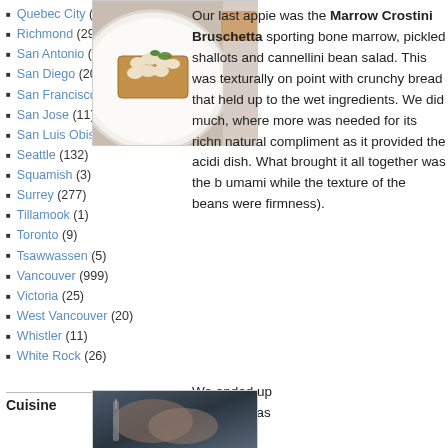Quebec City (1)
Richmond (299)
San Antonio (3)
San Diego (20)
San Francisco (60)
San Jose (11)
San Luis Obispo (1)
Seattle (132)
Squamish (3)
Surrey (277)
Tillamook (1)
Toronto (9)
Tsawwassen (5)
Vancouver (999)
Victoria (25)
West Vancouver (20)
Whistler (11)
White Rock (26)
Cuisine
Our last appie was the Marrow Crostini Bruschetta sporting bone marrow, pickled shallots and cannellini bean salad. This was texturally on point with crunchy bread that held up to the wet ingredients. We did much, where more was needed for its richn natural compliment as it provided the acidi dish. What brought it all together was the b umami while the texture of the beans were firmness).
[Figure (photo): A white plate with bone marrow bruschetta topped with cannellini beans and herbs on a wooden table]
We ended up with 2 pastas where the
[Figure (photo): A close-up photo of pasta dish]